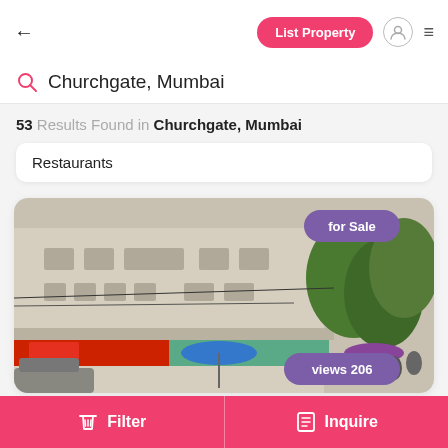← List Property [user icon] ☰
Churchgate, Mumbai
53 Results Found in Churchgate, Mumbai
Restaurants
[Figure (photo): Street-level photo of a multi-storey building in Churchgate, Mumbai, with shops on the ground floor including a red signboard, a blue umbrella street vendor, and trees on the right. Badges overlay the image: 'for Sale' top-right and 'views 206' bottom-right.]
Filter    Inquire